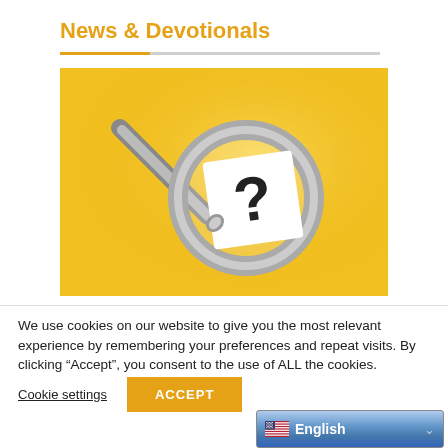News & Devotionals
[Figure (photo): A magnifying glass over a white card with a question mark, on a yellow background]
We use cookies on our website to give you the most relevant experience by remembering your preferences and repeat visits. By clicking “Accept”, you consent to the use of ALL the cookies.
Cookie settings
ACCEPT
English